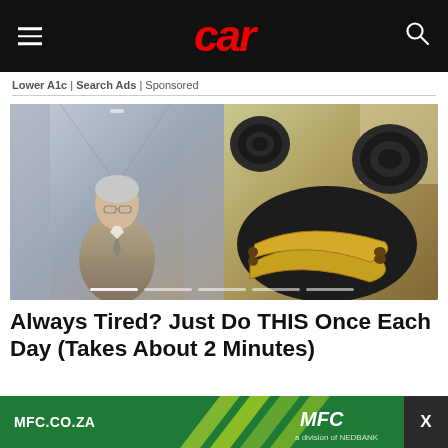car
Lower A1c | Search Ads | Sponsored
[Figure (photo): Split image: left side shows an older man in a suit and tie speaking in a corridor; right side shows bananas in a dark pan on a stovetop with coil burners]
Always Tired? Just Do THIS Once Each Day (Takes About 2 Minutes)
[Figure (logo): MFC.CO.ZA bottom banner advertisement with MFC logo and green background with yellow chevrons, with X close button]